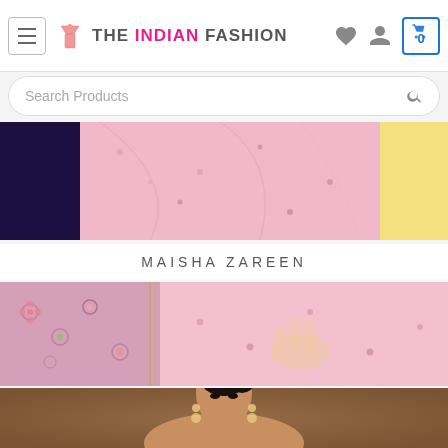THE INDIAN FASHION — navigation header with hamburger menu, logo, heart icon, user icon, and cart (0)
Search Products
[Figure (photo): Pink embroidered Indian dress torso detail with yellow fabric in background]
MAISHA ZAREEN
[Figure (photo): Close-up of pink embroidered fabric with floral motifs, model's hands visible]
[Figure (photo): Portrait of female model with dark hair pulled back, wearing earrings, brown background]